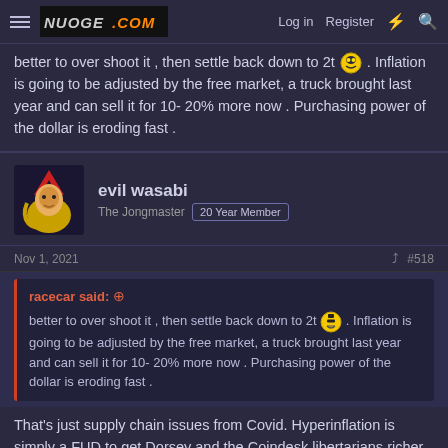Navigation bar with hamburger menu, logo NUOGE.COM, Log in, Register, lightning icon, search icon
better to over shoot it , then settle back down to 2t 😈 . Inflation is going to be adjusted by the free market, a truck brought last year and can sell it for 10- 20% more now . Purchasing power of the dollar is eroding fast .
evil wasabi
The Jongmaster  20 Year Member
Nov 1, 2021   #518
racecar said: ↗
better to over shoot it , then settle back down to 2t 😁 . Inflation is going to be adjusted by the free market, a truck brought last year and can sell it for 10- 20% more now . Purchasing power of the dollar is eroding fast .
That's just supply chain issues from Covid. Hyperinflation is simply a FUD to get Dorsey and the Coindesk libertarians richer.
theMot